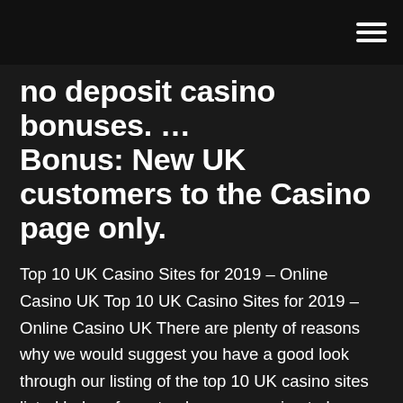no deposit casino bonuses. … Bonus: New UK customers to the Casino page only.
Top 10 UK Casino Sites for 2019 – Online Casino UK Top 10 UK Casino Sites for 2019 – Online Casino UK There are plenty of reasons why we would suggest you have a good look through our listing of the top 10 UK casino sites listed below, for not only are you going to be playing at fully licensed and regulated casino sites. Bonus UK - Get Completely Free No Deposit Bonuses! With over £1,000 in no deposit bonus offers for online casino, sports betting, bingo and poker the Bonus UK website is a the UK's number one site for your next no deposit bonus offer without the